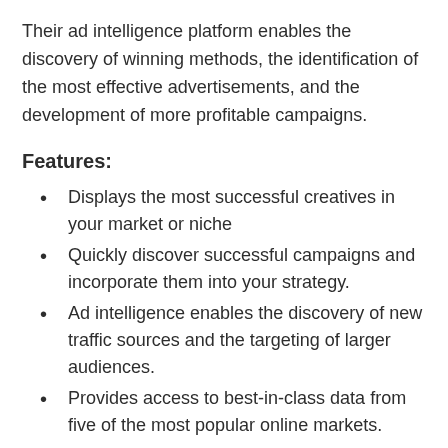Their ad intelligence platform enables the discovery of winning methods, the identification of the most effective advertisements, and the development of more profitable campaigns.
Features:
Displays the most successful creatives in your market or niche
Quickly discover successful campaigns and incorporate them into your strategy.
Ad intelligence enables the discovery of new traffic sources and the targeting of larger audiences.
Provides access to best-in-class data from five of the most popular online markets.
Assist you in staying current on the ins and outs of your competitors' display advertising strategy.